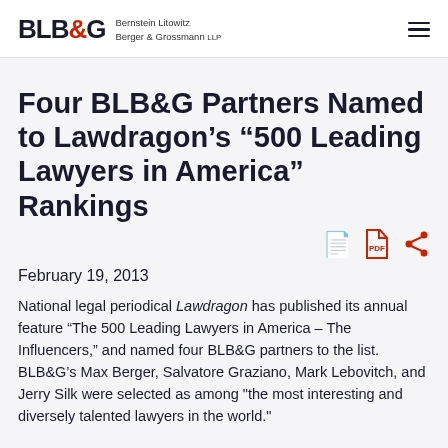BLB&G Bernstein Litowitz Berger & Grossmann LLP
Four BLB&G Partners Named to Lawdragon’s “500 Leading Lawyers in America” Rankings
February 19, 2013
National legal periodical Lawdragon has published its annual feature “The 500 Leading Lawyers in America – The Influencers,” and named four BLB&G partners to the list.  BLB&G’s Max Berger, Salvatore Graziano, Mark Lebovitch, and Jerry Silk were selected as among "the most interesting and diversely talented lawyers in the world."